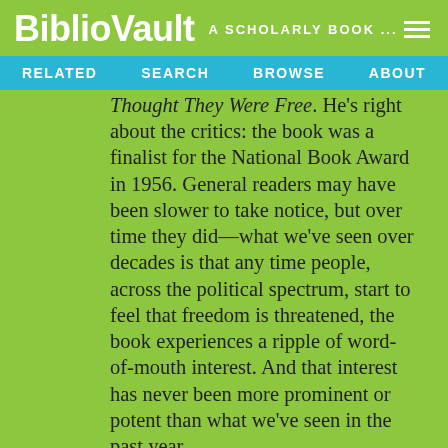BiblioVault  A SCHOLARLY BOOK ...
RELATED  SEARCH  BROWSE  ABOUT
Thought They Were Free. He's right about the critics: the book was a finalist for the National Book Award in 1956. General readers may have been slower to take notice, but over time they did—what we've seen over decades is that any time people, across the political spectrum, start to feel that freedom is threatened, the book experiences a ripple of word-of-mouth interest. And that interest has never been more prominent or potent than what we've seen in the past year.
They Thought They Were Free is an eloquent and provocative examination of the development of fascism in Germany. More than that, it is one of t...